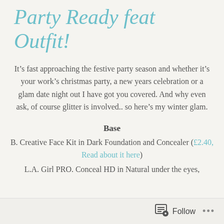Party Ready feat Outfit!
It’s fast approaching the festive party season and whether it’s your work’s christmas party, a new years celebration or a glam date night out I have got you covered. And why even ask, of course glitter is involved.. so here’s my winter glam.
Base
B. Creative Face Kit in Dark Foundation and Concealer (£2.40, Read about it here)
L.A. Girl PRO. Conceal HD in Natural under the eyes,
Follow ...